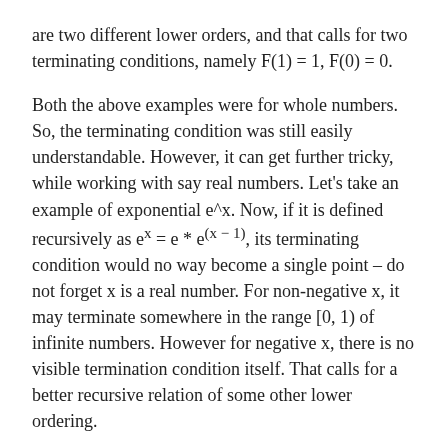are two different lower orders, and that calls for two terminating conditions, namely F(1) = 1, F(0) = 0.
Both the above examples were for whole numbers. So, the terminating condition was still easily understandable. However, it can get further tricky, while working with say real numbers. Let's take an example of exponential e^x. Now, if it is defined recursively as e^x = e * e^(x − 1), its terminating condition would no way become a single point – do not forget x is a real number. For non-negative x, it may terminate somewhere in the range [0, 1) of infinite numbers. However for negative x, there is no visible termination condition itself. That calls for a better recursive relation of some other lower ordering.
Till now, lower ordering was being thought of as subtraction, which worked well for whole numbers, but seemingly not for real numbers. So, why not lowering the order using repeated subtraction, or so called division? Interestingly, it turns out